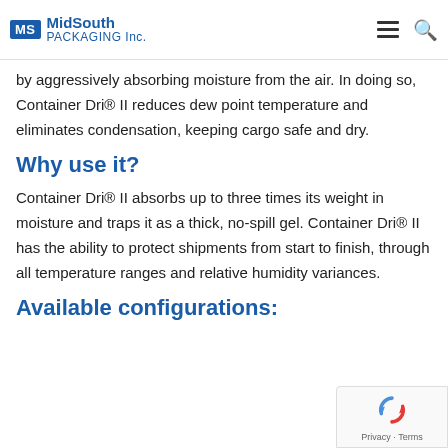MidSouth PACKAGING Inc.
by aggressively absorbing moisture from the air. In doing so, Container Dri® II reduces dew point temperature and eliminates condensation, keeping cargo safe and dry.
Why use it?
Container Dri® II absorbs up to three times its weight in moisture and traps it as a thick, no-spill gel. Container Dri® II has the ability to protect shipments from start to finish, through all temperature ranges and relative humidity variances.
Available configurations: